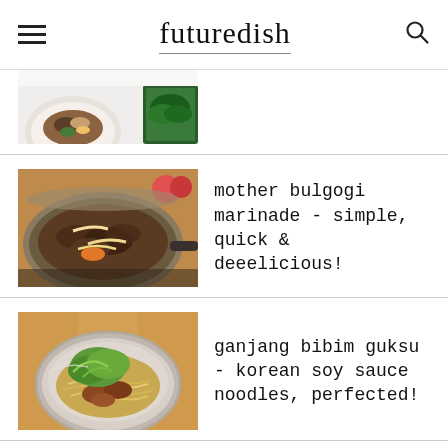futuredish
[Figure (photo): Partial view of Korean food bowls — rice bowl with beef and vegetables, and a bowl with leafy greens, seen from above on a white surface]
[Figure (photo): Bulgogi (Korean marinated beef) cooking in a pan with onions and vegetables on a stove, apples visible in background]
mother bulgogi marinade - simple, quick & deeelicious!
[Figure (photo): Ganjang bibim guksu - Korean soy sauce noodles in a silver bowl with green cabbage and braised chicken on wooden table]
ganjang bibim guksu - korean soy sauce noodles, perfected!